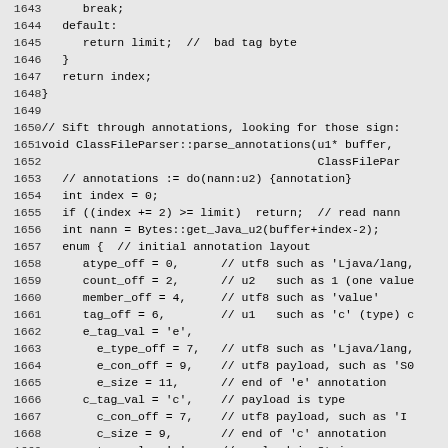Source code listing lines 1643–1672 showing C++ code for ClassFileParser::parse_annotations function and related enum definitions